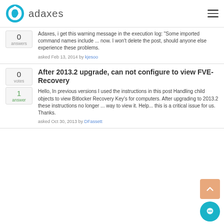adaxes
Adaxes, i get this warning message in the execution log: "Some imported command names include ... now. I won't delete the post, should anyone else experience these problems.
asked Feb 13, 2014 by kjesoo
After 2013.2 upgrade, can not configure to view FVE-Recovery
Hello, In previous versions I used the instructions in this post Handling child objects to view Bitlocker Recovery Key's for computers. After upgrading to 2013.2 these instructions no longer ... way to view it. Help... this is a critical issue for us. Thanks.
asked Oct 30, 2013 by DFassett